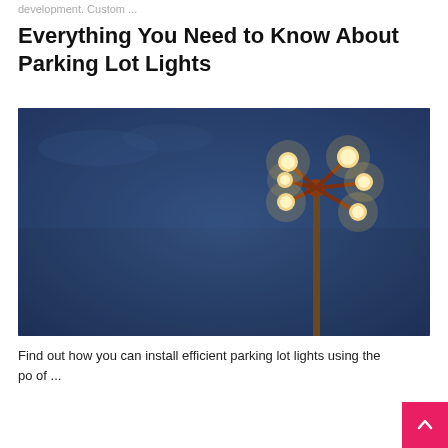development. Custom ...
Everything You Need to Know About Parking Lot Lights
[Figure (photo): A multi-light parking lot pole with glowing warm lights against a deep blue twilight sky, photographed from below looking upward at an angle to the right side of the frame.]
Find out how you can install efficient parking lot lights using the po of ...